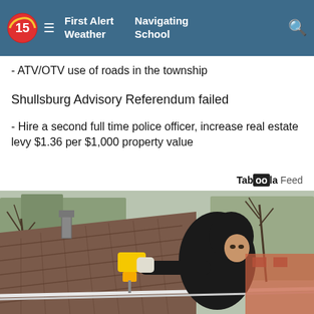First Alert Weather | Navigating School
- ATV/OTV use of roads in the township
Shullsburg Advisory Referendum failed
- Hire a second full time police officer, increase real estate levy $1.36 per $1,000 property value
Taboola Feed
[Figure (photo): Man in black hoodie working on a rooftop with a yellow power drill, on a grey shingled roof with bare trees and brick house in background]